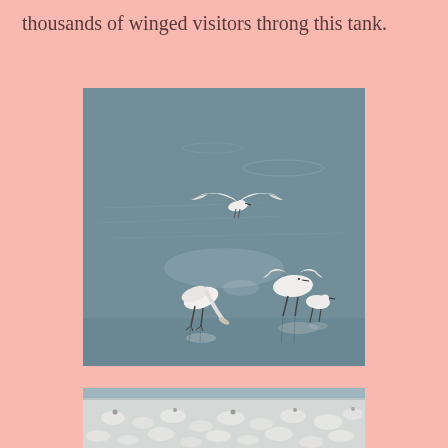thousands of winged visitors throng this tank.
[Figure (photo): White egrets/spoonbills wading and flying over a grey-blue shallow water body, with reflections visible on the surface. One bird is in flight in the upper portion, while others feed and stand in the shallows below.]
[Figure (photo): Close-up texture of white or light-coloured birds densely packed together, partially visible at bottom of page.]